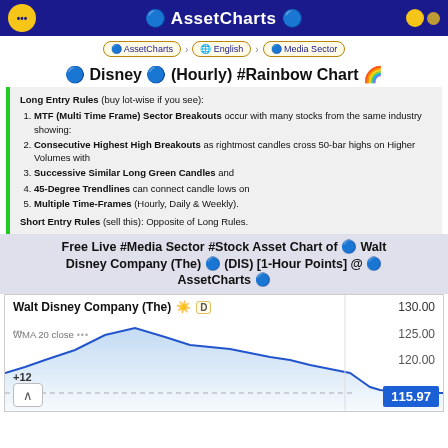🔵 AssetCharts 🔵
🔵 AssetCharts > 🌐 English > 🔵 Media Sector
🔵 Disney 🔵 (Hourly) #Rainbow Chart 🌈
Long Entry Rules (buy lot-wise if you see):
MTF (Multi Time Frame) Sector Breakouts occur with many stocks from the same industry showing:
Consecutive Highest High Breakouts as rightmost candles cross 50-bar highs on Higher Volumes with
Successive Similar Long Green Candles and
45-Degree Trendlines can connect candle lows on
Multiple Time-Frames (Hourly, Daily & Weekly).
Short Entry Rules (sell this): Opposite of Long Rules.
Free Live #Media Sector #Stock Asset Chart of 🔵 Walt Disney Company (The) 🔵 (DIS) [1-Hour Points] @ 🔵 AssetCharts 🔵
[Figure (line-chart): Line chart of Walt Disney Company (The) stock price at 1-hour intervals, showing price declining from around 128 to 115.97. Labels show WMA 20 close, +12, price levels 130.00, 125.00, 120.00, and current price 115.97.]